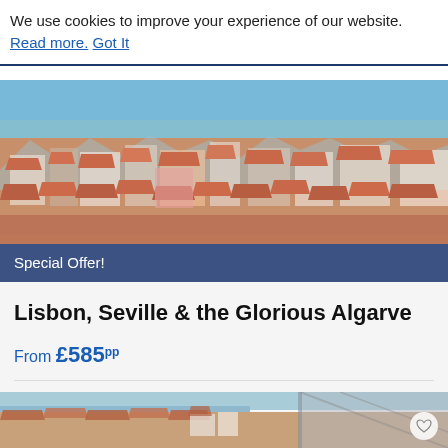We use cookies to improve your experience of our website. Read more. Got It
[Figure (photo): Aerial view of Lisbon rooftops with orange/terracotta tiles, colourful buildings, and a blue sea/sky in the background. A 'Special Offer!' banner overlays the bottom of the image.]
Lisbon, Seville & the Glorious Algarve
From £585pp
7 nights - by air
[Figure (photo): Partial view of a riverside Portuguese city with orange-roofed buildings and a bridge visible on the right, with a heart/favourite icon overlay.]